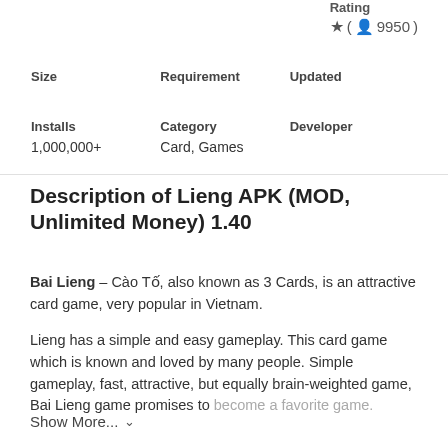Rating ★ (👤 9950)
| Size | Requirement | Updated |
| --- | --- | --- |
| Installs | Category | Developer |
| --- | --- | --- |
| 1,000,000+ | Card, Games |  |
Description of Lieng APK (MOD, Unlimited Money) 1.40
Bai Lieng – Cào Tố, also known as 3 Cards, is an attractive card game, very popular in Vietnam.
Lieng has a simple and easy gameplay. This card game which is known and loved by many people. Simple gameplay, fast, attractive, but equally brain-weighted game, Bai Lieng game promises to become a favorite game.
Show More... ∨